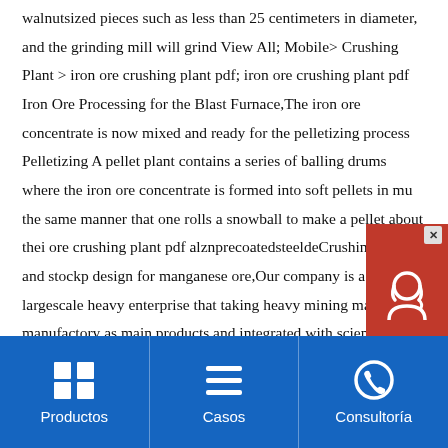walnutsized pieces such as less than 25 centimeters in diameter, and the grinding mill will grind View All; Mobile> Crushing Plant > iron ore crushing plant pdf; iron ore crushing plant pdf Iron Ore Processing for the Blast Furnace,The iron ore concentrate is now mixed and ready for the pelletizing process Pelletizing A pellet plant contains a series of balling drums where the iron ore concentrate is formed into soft pellets in much the same manner that one rolls a snowball to make a pellet about their ore crushing plant pdf alznprecoatedsteeldeCrushing plant and stockpile design for manganese ore,Our company is a largescale heavy enterprise that taking heavy mining machinery manufactory as main products and integrated with scientific research, production, and marketing We are concentrating on producing and selling machines such as jaw crusher, cone crusher, hammer crusher, ball mill, sand maker, mobile crushing
[Figure (other): Live chat widget with red background, headset icon, and 'Chat Now' text on dark background with close button]
Productos | Casos | Consultoría